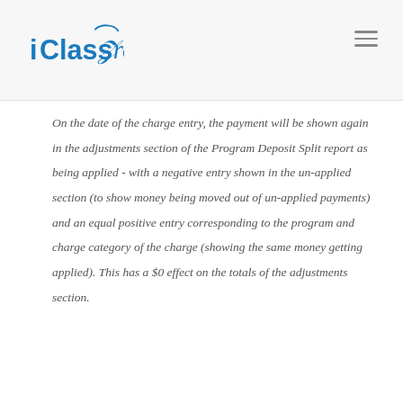iClassPro
On the date of the charge entry, the payment will be shown again in the adjustments section of the Program Deposit Split report as being applied - with a negative entry shown in the un-applied section (to show money being moved out of un-applied payments) and an equal positive entry corresponding to the program and charge category of the charge (showing the same money getting applied). This has a $0 effect on the totals of the adjustments section.